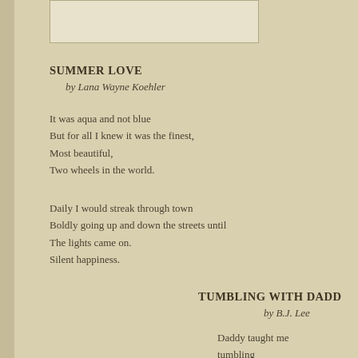[Figure (illustration): Partial view of an illustration at the top of the page, showing a curved outline on a cream/white background]
SUMMER LOVE
by Lana Wayne Koehler
It was aqua and not blue
But for all I knew it was the finest,
Most beautiful,
Two wheels in the world.
Daily I would streak through town
Boldly going up and down the streets until
The lights came on.
Silent happiness.
TUMBLING WITH DADD
by B.J. Lee
Daddy taught me
tumbling